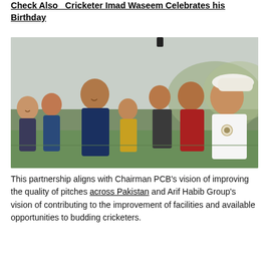Check Also  Cricketer Imad Waseem Celebrates his Birthday
[Figure (photo): Group photo of people including cricket officials and players, one wearing a white cricket umpire hat and white shirt with a badge, another in a navy blazer, others smiling around them; outdoor cricket ground visible in background.]
This partnership aligns with Chairman PCB's vision of improving the quality of pitches across Pakistan and Arif Habib Group's vision of contributing to the improvement of facilities and available opportunities to budding cricketers.